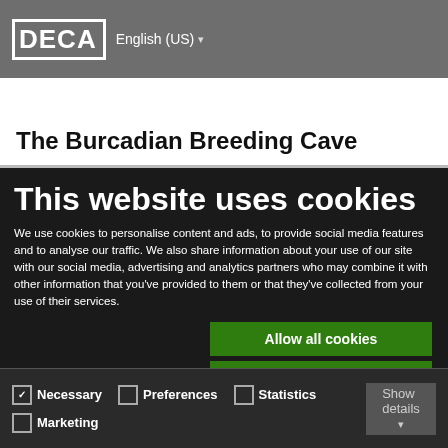DECA  English (US)
The Burcadian Breeding Cave
This website uses cookies
We use cookies to personalise content and ads, to provide social media features and to analyse our traffic. We also share information about your use of our site with our social media, advertising and analytics partners who may combine it with other information that you've provided to them or that they've collected from your use of their services.
Allow all cookies
Allow selection
Use necessary cookies only
Necessary  Preferences  Statistics  Marketing  Show details